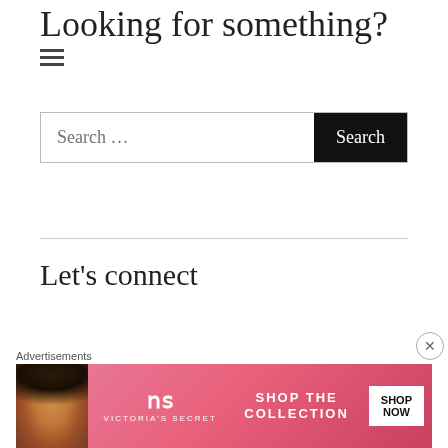Looking for something?
☰
Search ...
Let's connect
Advertisements
[Figure (other): Victoria's Secret advertisement banner with a model, VS logo, 'SHOP THE COLLECTION' text, and 'SHOP NOW' button]